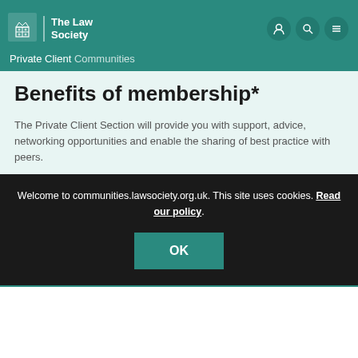The Law Society – Private Client Communities
Benefits of membership*
The Private Client Section will provide you with support, advice, networking opportunities and enable the sharing of best practice with peers.
*See Section terms and conditions
Welcome to communities.lawsociety.org.uk. This site uses cookies. Read our policy.
OK